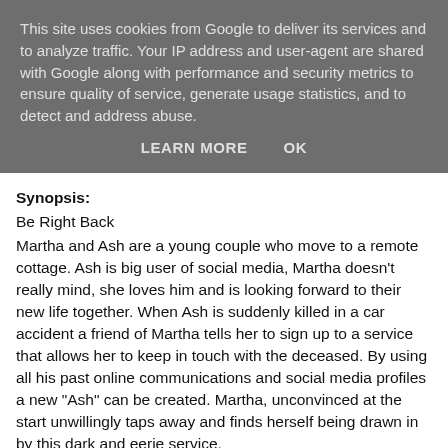This site uses cookies from Google to deliver its services and to analyze traffic. Your IP address and user-agent are shared with Google along with performance and security metrics to ensure quality of service, generate usage statistics, and to detect and address abuse.
LEARN MORE    OK
Synopsis:
Be Right Back
Martha and Ash are a young couple who move to a remote cottage. Ash is big user of social media, Martha doesn't really mind, she loves him and is looking forward to their new life together. When Ash is suddenly killed in a car accident a friend of Martha tells her to sign up to a service that allows her to keep in touch with the deceased. By using all his past online communications and social media profiles a new "Ash" can be created. Martha, unconvinced at the start unwillingly taps away and finds herself being drawn in by this dark and eerie service.